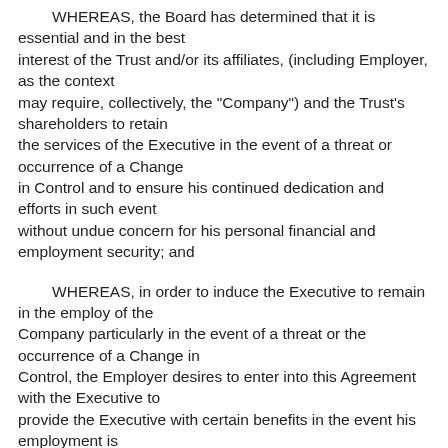WHEREAS, the Board has determined that it is essential and in the best interest of the Trust and/or its affiliates, (including Employer, as the context may require, collectively, the "Company") and the Trust's shareholders to retain the services of the Executive in the event of a threat or occurrence of a Change in Control and to ensure his continued dedication and efforts in such event without undue concern for his personal financial and employment security; and
WHEREAS, in order to induce the Executive to remain in the employ of the Company particularly in the event of a threat or the occurrence of a Change in Control, the Employer desires to enter into this Agreement with the Executive to provide the Executive with certain benefits in the event his employment is terminated as a result of, or in connection with, a Change in